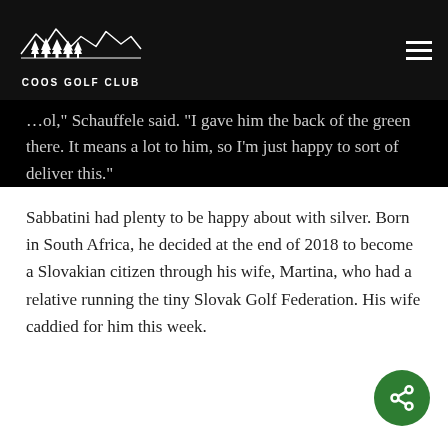COOS GOLF CLUB
…ol," Schaufl ele said. "I gave him the back of the green there. It means a lot to him, so I'm just happy to sort of deliver this."
Sabbatini had plenty to be happy about with silver. Born in South Africa, he decided at the end of 2018 to become a Slovakian citizen through his wife, Martina, who had a relative running the tiny Slovak Golf Federation. His wife caddied for him this week.